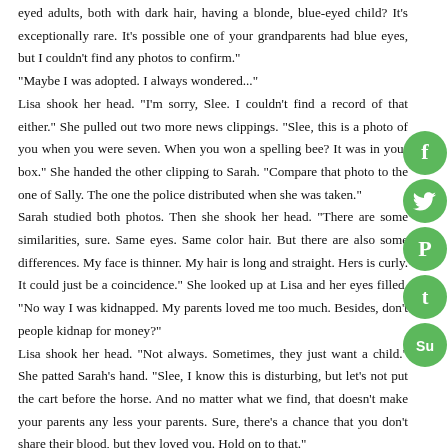eyed adults, both with dark hair, having a blonde, blue-eyed child? It's exceptionally rare. It's possible one of your grandparents had blue eyes, but I couldn't find any photos to confirm.”
“Maybe I was adopted. I always wondered...”
Lisa shook her head. “I'm sorry, Slee. I couldn't find a record of that either.” She pulled out two more news clippings. “Slee, this is a photo of you when you were seven. When you won a spelling bee? It was in your box.” She handed the other clipping to Sarah. “Compare that photo to the one of Sally. The one the police distributed when she was taken.”
Sarah studied both photos. Then she shook her head. “There are some similarities, sure. Same eyes. Same color hair. But there are also some differences. My face is thinner. My hair is long and straight. Hers is curly. It could just be a coincidence.” She looked up at Lisa and her eyes filled. “No way I was kidnapped. My parents loved me too much. Besides, don’t people kidnap for money?”
Lisa shook her head. “Not always. Sometimes, they just want a child.” She patted Sarah’s hand. “Slee, I know this is disturbing, but let’s not put the cart before the horse. And no matter what we find, that doesn’t make your parents any less your parents. Sure, there’s a chance that you don’t share their blood, but they loved you. Hold on to that.”
[Figure (other): Social media share icons: Facebook (f), Twitter (bird), Pinterest (P), Tumblr (t), StumbleUpon (Su) — green circles on right side]